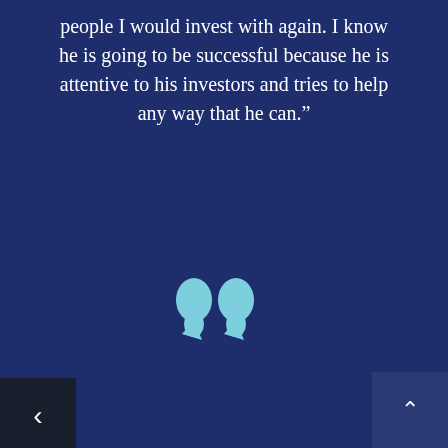people I would invest with again. I know he is going to be successful because he is attentive to his investors and tries to help any way that he can.”
[Figure (illustration): Large teal/light-blue closing double quotation mark symbol centered on dark navy background]